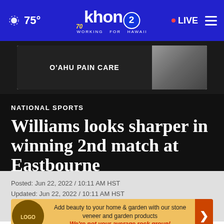75° khon2 WORKING FOR HAWAII LIVE
[Figure (screenshot): Advertisement banner: O'AHU PAIN CARE with black and white image of person]
NATIONAL SPORTS
Williams looks sharper in winning 2nd match at Eastbourne
Posted: Jun 22, 2022 / 10:11 AM HST
Updated: Jun 22, 2022 / 10:11 AM HST
[Figure (infographic): Advertisement: Add beauty to your home & garden with our stone veneer and garden products. We're not your average rock group!]